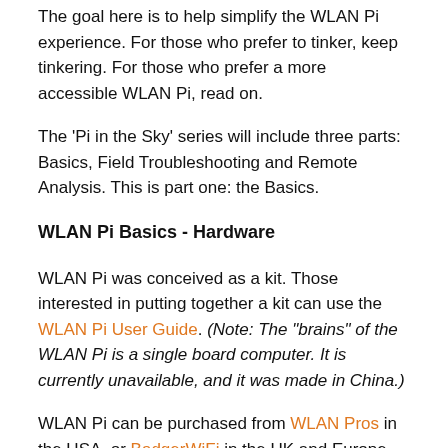The goal here is to help simplify the WLAN Pi experience. For those who prefer to tinker, keep tinkering. For those who prefer a more accessible WLAN Pi, read on.
The 'Pi in the Sky' series will include three parts: Basics, Field Troubleshooting and Remote Analysis. This is part one: the Basics.
WLAN Pi Basics - Hardware
WLAN Pi was conceived as a kit. Those interested in putting together a kit can use the WLAN Pi User Guide. (Note: The "brains" of the WLAN Pi is a single board computer. It is currently unavailable, and it was made in China.)
WLAN Pi can be purchased from WLAN Pros in the USA, or BadgerWiFi in the UK and Europe.
WLAN Pi is powered via micro USB. It can NOT be powered via PoE...